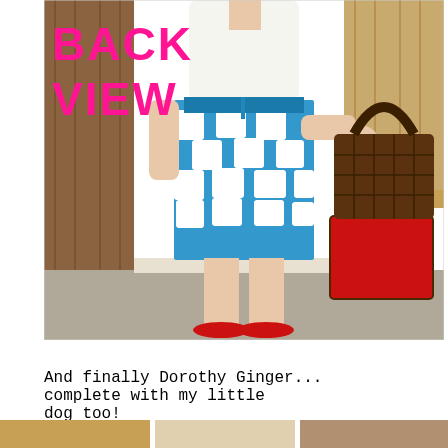[Figure (photo): Back view photo of a person wearing a white short-sleeve top and a blue and white checked/gingham A-line skirt, red shoes, holding a wicker picnic basket with red lining. Text overlay in pink reads 'BACK VIEW'. Background shows a wood-panelled room with carpet and a wooden desk.]
And finally Dorothy Ginger... complete with my little dog too!
[Figure (photo): Partial bottom strip showing the start of another photo row.]